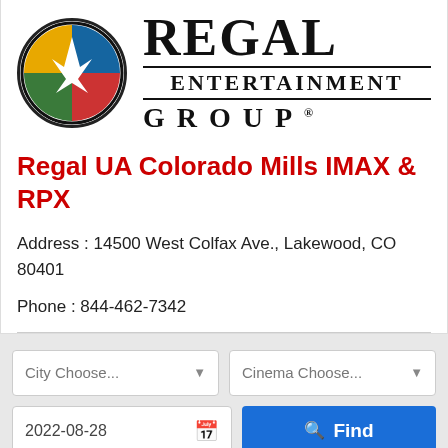[Figure (logo): Regal Entertainment Group logo with colorful circle icon and text]
Regal UA Colorado Mills IMAX & RPX
Address : 14500 West Colfax Ave., Lakewood, CO 80401
Phone : 844-462-7342
City Choose...
Cinema Choose...
2022-08-28
Find